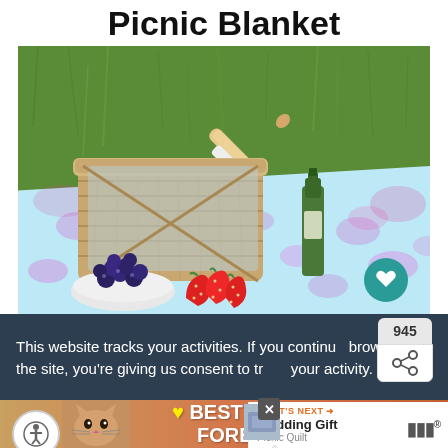Picnic Blanket
[Figure (photo): Outdoor picnic scene showing a wicker basket with baguette, green wine bottle, bowl of blueberries, and strawberries on a colorful floral patterned blanket on green grass]
This website tracks your activities. If you continue browsing the site, you're giving us consent to track your activity.
945
WHAT'S NEXT → Wedding Gift Picnic Quilt
BEST FRIENDS FOREVER